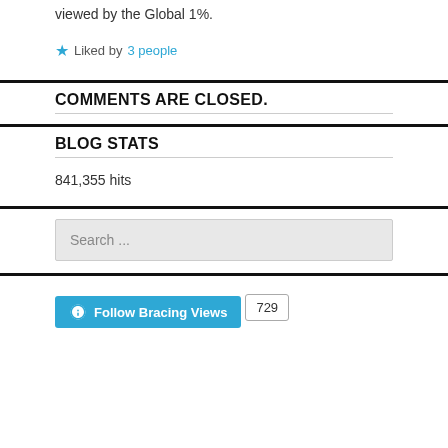viewed by the Global 1%.
Liked by 3 people
COMMENTS ARE CLOSED.
BLOG STATS
841,355 hits
Search ...
Follow Bracing Views 729